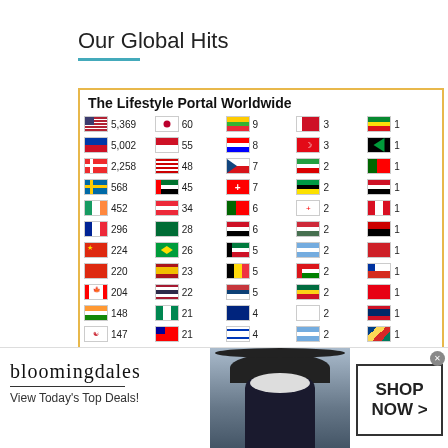Our Global Hits
[Figure (table-as-image): The Lifestyle Portal Worldwide - table of country flags with visitor counts]
[Figure (photo): Bloomingdale's advertisement banner - View Today's Top Deals! SHOP NOW >]